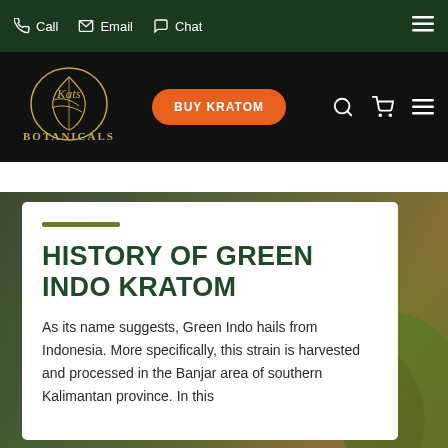Call  Email  Chat
[Figure (logo): Kats Botanicals logo with gold botanical design and text, with BUY KRATOM orange button and nav icons]
HISTORY OF GREEN INDO KRATOM
As its name suggests, Green Indo hails from Indonesia. More specifically, this strain is harvested and processed in the Banjar area of southern Kalimantan province. In this